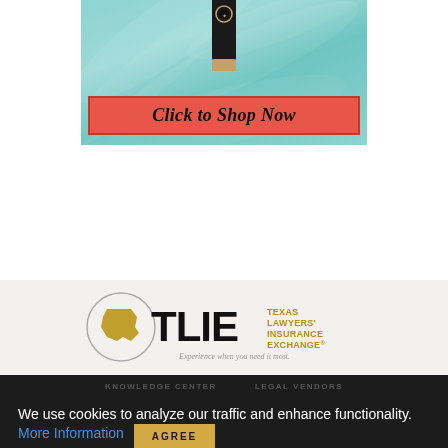[Figure (illustration): Advertisement banner showing a black tumbler/cup on a teal leaf background with a red 'Click to Shop Now' button]
[Figure (logo): TLIE - Texas Lawyers' Insurance Exchange logo with Texas state shape, circle border, bold TLIE letters, and tagline 'Experience when you need it most.']
KNOWLEDGE CENTER   LEGAL VENDORS
We use cookies to analyze our traffic and enhance functionality. More Information   AGREE